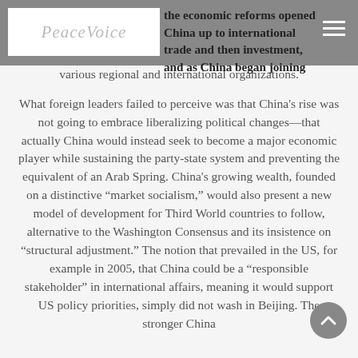the economic reforms opened China up to international trade and then investment, and as China began joining various regional and international organizations.
What foreign leaders failed to perceive was that China's rise was not going to embrace liberalizing political changes—that actually China would instead seek to become a major economic player while sustaining the party-state system and preventing the equivalent of an Arab Spring. China's growing wealth, founded on a distinctive “market socialism,” would also present a new model of development for Third World countries to follow, alternative to the Washington Consensus and its insistence on “structural adjustment.” The notion that prevailed in the US, for example in 2005, that China could be a “responsible stakeholder” in international affairs, meaning it would support US policy priorities, simply did not wash in Beijing. The stronger China